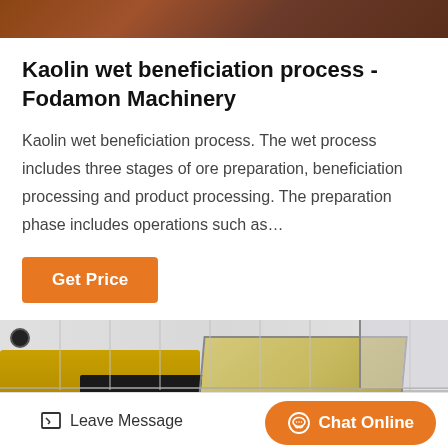[Figure (photo): Top portion of an industrial or machinery-related photo, showing reddish-brown material or equipment]
Kaolin wet beneficiation process - Fodamon Machinery
Kaolin wet beneficiation process. The wet process includes three stages of ore preparation, beneficiation processing and product processing. The preparation phase includes operations such as…
[Figure (photo): Industrial machinery inside a factory building with white corrugated walls; yellow mining/processing equipment on the left and an inclined screen or conveyor panel on the right]
Leave Message
Chat Online